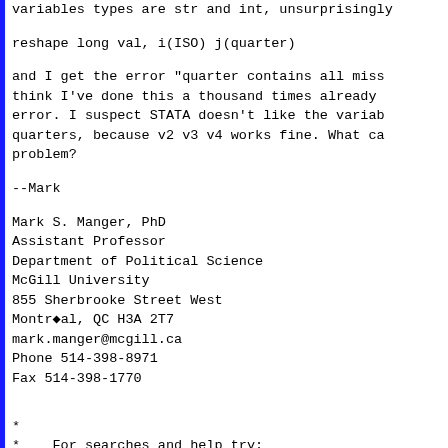variables types are str and int, unsurprisingly
reshape long val, i(ISO) j(quarter)
and I get the error "quarter contains all missing values". I think I've done this a thousand times already, I don't get the error. I suspect STATA doesn't like the variable names for quarters, because v2 v3 v4 works fine. What can be the problem?
--Mark
Mark S. Manger, PhD
Assistant Professor
Department of Political Science
McGill University
855 Sherbrooke Street West
Montréal, QC H3A 2T7
mark.manger@mcgill.ca
Phone 514-398-8971
Fax 514-398-1770
*
*    For searches and help try:
*    http://...